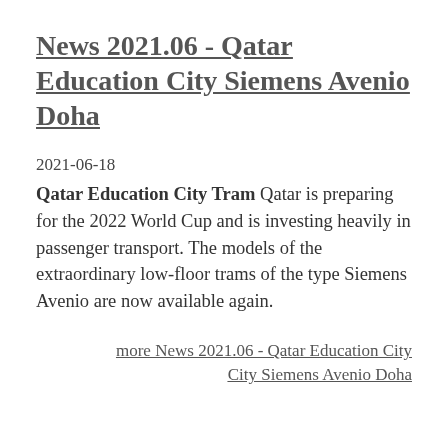News 2021.06 - Qatar Education City Siemens Avenio Doha
2021-06-18
Qatar Education City Tram Qatar is preparing for the 2022 World Cup and is investing heavily in passenger transport. The models of the extraordinary low-floor trams of the type Siemens Avenio are now available again.
more News 2021.06 - Qatar Education City Siemens Avenio Doha